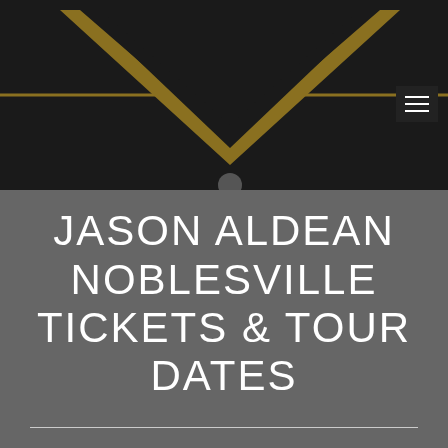[Figure (illustration): Dark banner with gold/yellow chevron/arrow logo shape on black background, with a hamburger menu button in the top right corner]
JASON ALDEAN NOBLESVILLE TICKETS & TOUR DATES